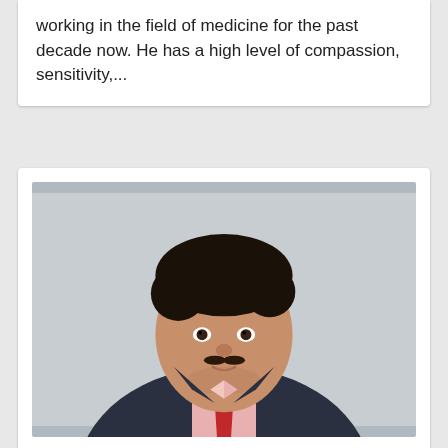working in the field of medicine for the past decade now. He has a high level of compassion, sensitivity,...
[Figure (photo): Professional headshot of Dr. Kartik Bhosale, a young man wearing a dark suit jacket, pink shirt, and red tie, against a light gray background.]
Dr. Kartik Bhosale
Snehlata Maternity Hospital and Research...